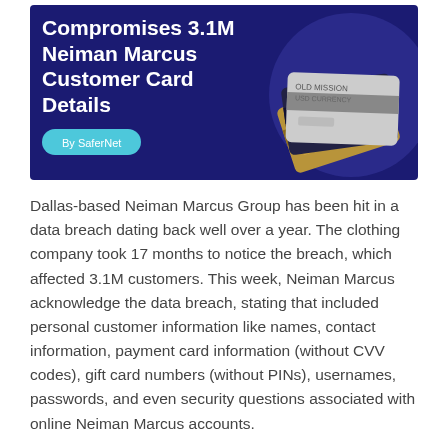[Figure (infographic): Dark blue banner image with white bold text reading 'Compromises 3.1M Neiman Marcus Customer Card Details' and a teal pill label 'By SaferNet', with a circular image of stacked credit cards on the right.]
Dallas-based Neiman Marcus Group has been hit in a data breach dating back well over a year. The clothing company took 17 months to notice the breach, which affected 3.1M customers. This week, Neiman Marcus acknowledge the data breach, stating that included personal customer information like names, contact information, payment card information (without CVV codes), gift card numbers (without PINs), usernames, passwords, and even security questions associated with online Neiman Marcus accounts.
The group, which also controls the brands Bergdorf